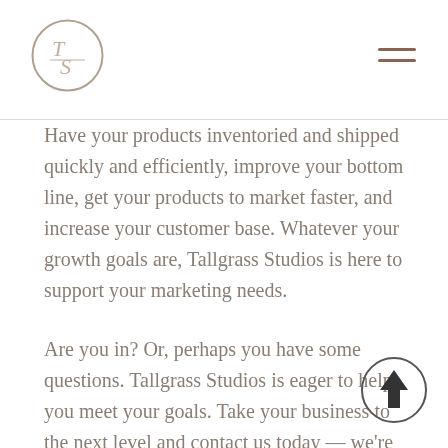Tallgrass Studios logo and navigation
Have your products inventoried and shipped quickly and efficiently, improve your bottom line, get your products to market faster, and increase your customer base. Whatever your growth goals are, Tallgrass Studios is here to support your marketing needs.
Are you in? Or, perhaps you have some questions. Tallgrass Studios is eager to help you meet your goals. Take your business to the next level and contact us today — we're happy to make a presentation to you or